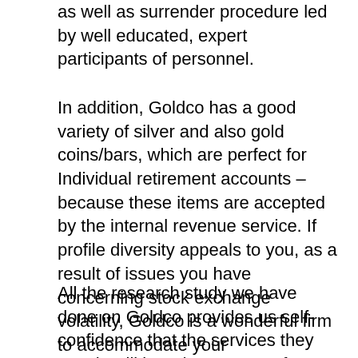as well as surrender procedure led by well educated, expert participants of personnel.
In addition, Goldco has a good variety of silver and also gold coins/bars, which are perfect for Individual retirement accounts – because these items are accepted by the internal revenue service. If profile diversity appeals to you, as a result of issues you have concerning stock exchange volatility, Goldco is a wonderful firm to accommodate your requirements.
All the research study we have done on Goldco provides us self-confidence that the services they supply will be advantageous for your economic future. Conduct your very own research right into them and also